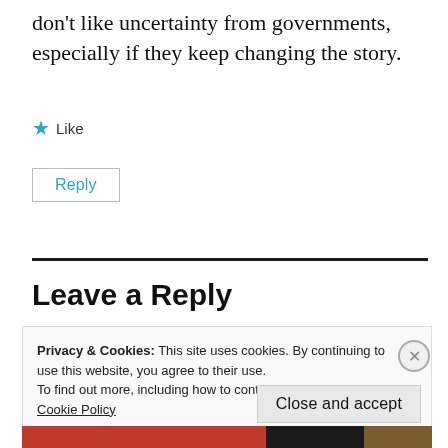don't like uncertainty from governments, especially if they keep changing the story.
★ Like
Reply
Leave a Reply
Privacy & Cookies: This site uses cookies. By continuing to use this website, you agree to their use.
To find out more, including how to control cookies, see here:
Cookie Policy
Close and accept